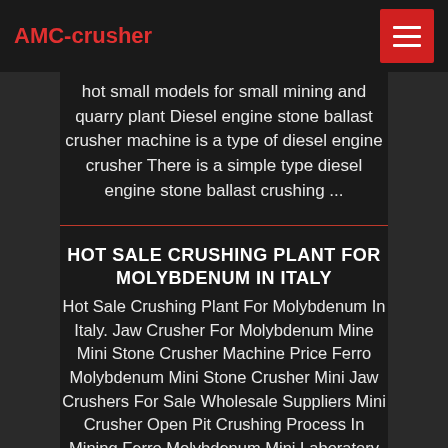AMC-crusher
hot small models for small mining and quarry plant Diesel engine stone ballast crusher machine is a type of diesel engine crusher There is a simple type diesel engine stone ballast crushing ...
HOT SALE CRUSHING PLANT FOR MOLYBDENUM IN ITALY
Hot Sale Crushing Plant For Molybdenum In Italy. Jaw Crusher For Molybdenum Mine Mini Stone Crusher Machine Price Ferro Molybdenum Mini Stone Crusher Mini Jaw Crushers For Sale Wholesale Suppliers Mini Crusher Open Pit Crushing Process In Mining Ferro Molybdenum Mini Laboratory Jaw Crusher Nickel Mine Hydraulic Crusher Equipment Crushing In Mineral ...longjian the main equipment of extec granite jaw